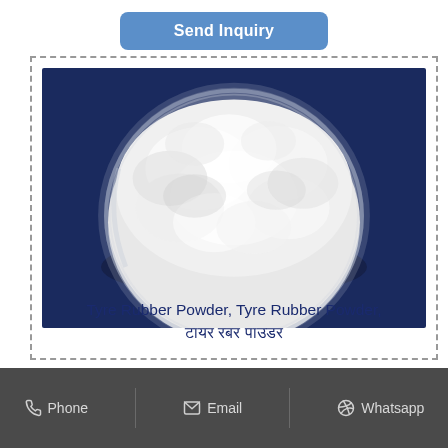Send Inquiry
[Figure (photo): A clear glass bowl filled with white fine powder (Tyre Rubber Powder) photographed from above against a dark navy blue background]
Tyre Rubber Powder, Tyre Rubber Powder, टायर रबर पाउडर
Phone   Email   Whatsapp